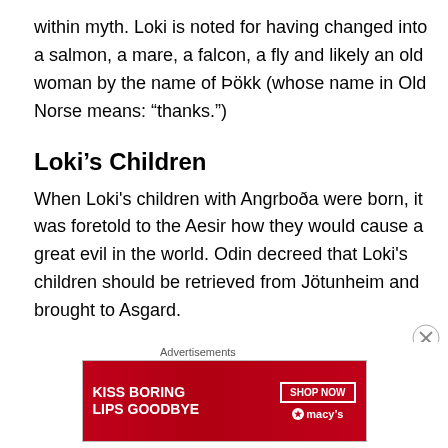within myth. Loki is noted for having changed into a salmon, a mare, a falcon, a fly and likely an old woman by the name of Þökk (whose name in Old Norse means: “thanks.”)
Loki’s Children
When Loki's children with Angrboða were born, it was foretold to the Aesir how they would cause a great evil in the world. Odin decreed that Loki's children should be retrieved from Jötunheim and brought to Asgard.
Odin threw Jormungand, the Midgard Serpent into the where it would wrap itself around the whole of the earth
Advertisements
[Figure (other): Advertisement banner for Macy's: 'KISS BORING LIPS GOODBYE' with SHOP NOW button and Macy's star logo on red background]